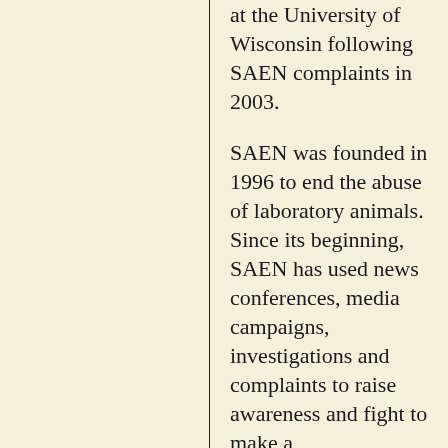at the University of Wisconsin following SAEN complaints in 2003.
SAEN was founded in 1996 to end the abuse of laboratory animals. Since its beginning, SAEN has used news conferences, media campaigns, investigations and complaints to raise awareness and fight to make a